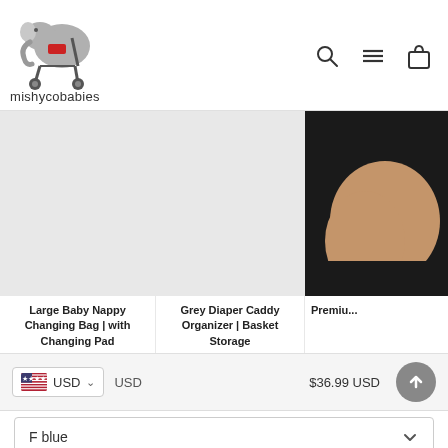[Figure (logo): Mishycobabies logo: elephant in a pram/stroller, with text 'mishycobabies' beneath]
[Figure (illustration): Navigation icons: search magnifying glass, hamburger menu, shopping bag]
[Figure (photo): Product photo area for Large Baby Nappy Changing Bag (light grey background)]
Large Baby Nappy Changing Bag | with Changing Pad
[Figure (photo): Product photo area for Grey Diaper Caddy Organizer (light grey background)]
Grey Diaper Caddy Organizer | Basket Storage
[Figure (photo): Partial product photo (dark background with hands visible) for Premium product]
Premiu...
USD   USD   $36.99 USD
F blue
1
ADD TO CART